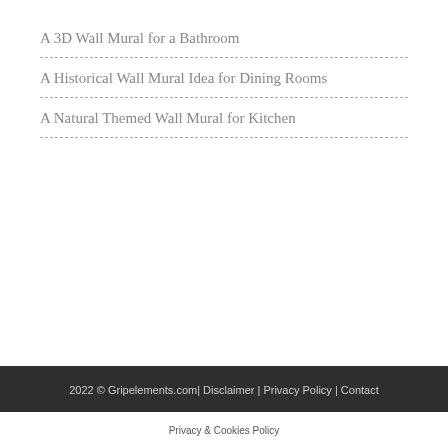A 3D Wall Mural for a Bathroom
A Historical Wall Mural Idea for Dining Rooms
A Natural Themed Wall Mural for Kitchen
2022 © Gripelements.com| Disclaimer | Privacy Policy | Contact
Privacy & Cookies Policy